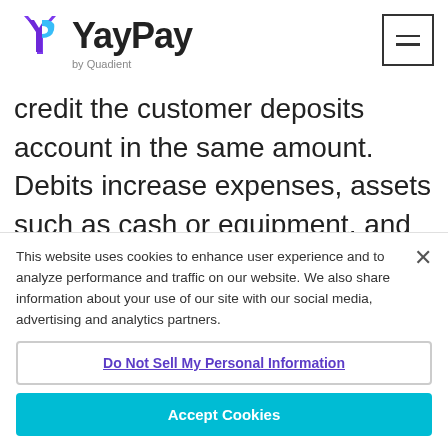[Figure (logo): YayPay by Quadient logo with YP icon in purple/blue and hamburger menu icon top right]
credit the customer deposits account in the same amount. Debits increase expenses, assets such as cash or equipment, and dividend accounts. Credits decrease these accounts and increase liability and equity accounts.
This website uses cookies to enhance user experience and to analyze performance and traffic on our website. We also share information about your use of our site with our social media, advertising and analytics partners.
Do Not Sell My Personal Information
Accept Cookies